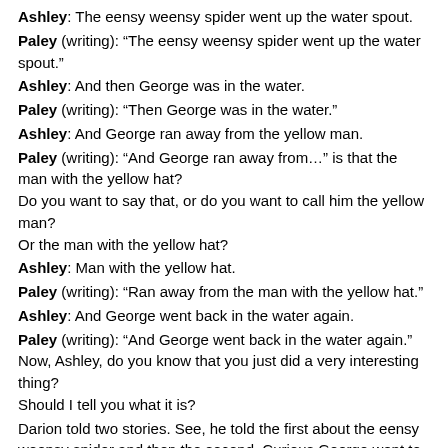Ashley: The eensy weensy spider went up the water spout.
Paley (writing): “The eensy weensy spider went up the water spout.”
Ashley: And then George was in the water.
Paley (writing): “Then George was in the water.”
Ashley: And George ran away from the yellow man.
Paley (writing): “And George ran away from…” is that the man with the yellow hat? Do you want to say that, or do you want to call him the yellow man? Or the man with the yellow hat?
Ashley: Man with the yellow hat.
Paley (writing): “Ran away from the man with the yellow hat.”
Ashley: And George went back in the water again.
Paley (writing): “And George went back in the water again.” Now, Ashley, do you know that you just did a very interesting thing? Should I tell you what it is?
Darion told two stories. See, he told the first about the eensy weensy spider and then the second, Curious George went to the jungle. When it was your turn to tell the story, you put both his stories together.
Ashley (laughing).